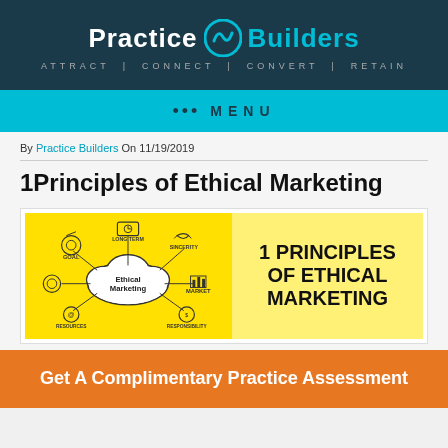Practice Builders — ATTRACT | CONNECT | CONVERT | RETAIN
••• MENU
By Practice Builders On 11/19/2019
1Principles of Ethical Marketing
[Figure (infographic): Infographic showing Ethical Marketing concept with cloud diagram on yellow background on left; text '1 PRINCIPLES OF ETHICAL MARKETING' on light yellow background on right. The cloud diagram shows labels: GOAL, LONG TERM, SINCERITY, MARKET, RESPONSIBILITY, RESOURCES with icons around a central 'Ethical Marketing' cloud.]
Get A Complimentary Practice Assessment